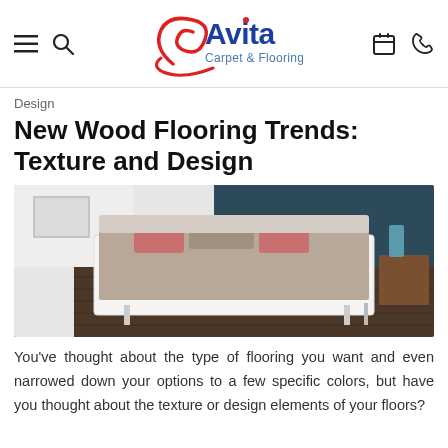Avita Carpet & Flooring
Design
New Wood Flooring Trends: Texture and Design
[Figure (photo): Modern bedroom with dark wood flooring, white bed frame with grey bedding and pink accent pillows, dark teal accent wall, and a wooden nightstand with a teal lamp.]
You’ve thought about the type of flooring you want and even narrowed down your options to a few specific colors, but have you thought about the texture or design elements of your floors?